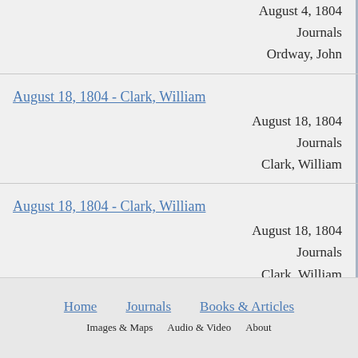August 4, 1804
Journals
Ordway, John
August 18, 1804 - Clark, William
August 18, 1804
Journals
Clark, William
August 18, 1804 - Clark, William
August 18, 1804
Journals
Clark, William
Home   Journals   Books & Articles